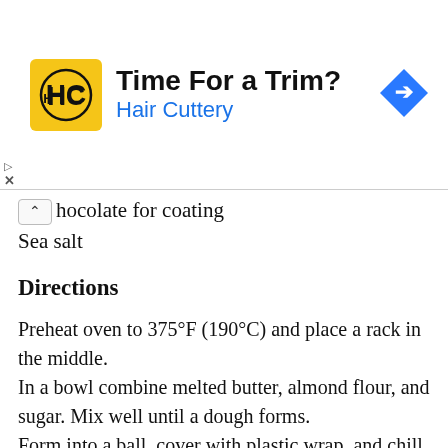[Figure (other): Advertisement banner for Hair Cuttery with logo, headline 'Time For a Trim?', subline 'Hair Cuttery', and a blue diamond arrow icon on the right.]
hocolate for coating
Sea salt
Directions
Preheat oven to 375°F (190°C) and place a rack in the middle.
In a bowl combine melted butter, almond flour, and sugar. Mix well until a dough forms.
Form into a ball, cover with plastic wrap, and chill in the refrigerator for at least 10 minutes.
Press (or roll) between two sheets of parchment paper into a roughly 6x8 inch rectangle (it should be about ½-inch